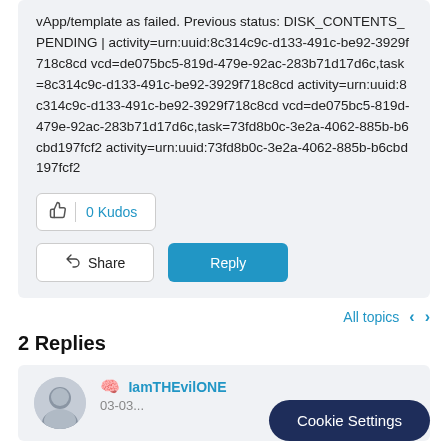vApp/template as failed. Previous status: DISK_CONTENTS_PENDING | activity=urn:uuid:8c314c9c-d133-491c-be92-3929f718c8cd vcd=de075bc5-819d-479e-92ac-283b71d17d6c,task=8c314c9c-d133-491c-be92-3929f718c8cd activity=urn:uuid:8c314c9c-d133-491c-be92-3929f718c8cd vcd=de075bc5-819d-479e-92ac-283b71d17d6c,task=73fd8b0c-3e2a-4062-885b-b6cbd197fcf2 activity=urn:uuid:73fd8b0c-3e2a-4062-885b-b6cbd197fcf2
0 Kudos
Share
Reply
All topics
2 Replies
IamTHEvilONE
03-0...
Cookie Settings